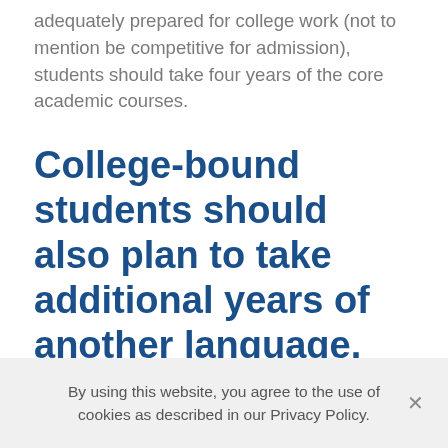adequately prepared for college work (not to mention be competitive for admission), students should take four years of the core academic courses.
College-bound students should also plan to take additional years of another language.
Just like the core subjects above, students should
By using this website, you agree to the use of cookies as described in our Privacy Policy.